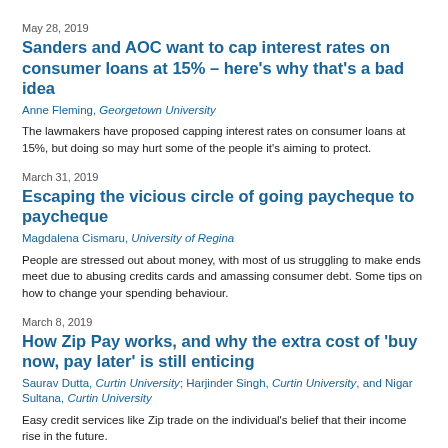May 28, 2019
Sanders and AOC want to cap interest rates on consumer loans at 15% – here's why that's a bad idea
Anne Fleming, Georgetown University
The lawmakers have proposed capping interest rates on consumer loans at 15%, but doing so may hurt some of the people it's aiming to protect.
March 31, 2019
Escaping the vicious circle of going paycheque to paycheque
Magdalena Cismaru, University of Regina
People are stressed out about money, with most of us struggling to make ends meet due to abusing credits cards and amassing consumer debt. Some tips on how to change your spending behaviour.
March 8, 2019
How Zip Pay works, and why the extra cost of 'buy now, pay later' is still enticing
Saurav Dutta, Curtin University; Harjinder Singh, Curtin University, and Nigar Sultana, Curtin University
Easy credit services like Zip trade on the individual's belief that their income rise in the future.